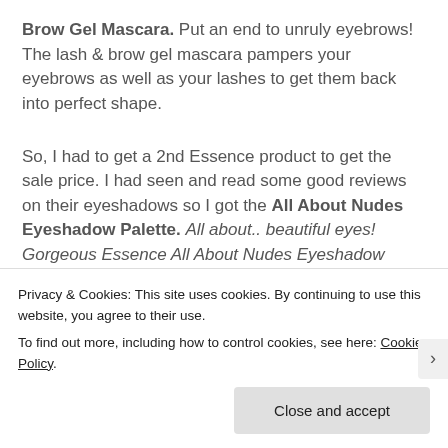Brow Gel Mascara. Put an end to unruly eyebrows! The lash & brow gel mascara pampers your eyebrows as well as your lashes to get them back into perfect shape.
So, I had to get a 2nd Essence product to get the sale price. I had seen and read some good reviews on their eyeshadows so I got the All About Nudes Eyeshadow Palette. All about.. beautiful eyes! Gorgeous Essence All About Nudes Eyeshadow Palette with eight complementing, buildable colors and
Privacy & Cookies: This site uses cookies. By continuing to use this website, you agree to their use.
To find out more, including how to control cookies, see here: Cookie Policy.